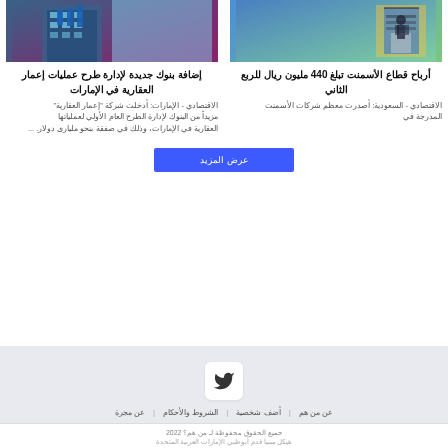[Figure (photo): Photo of building/skyscraper with blue banners]
إضافة بنوك جديدة لإدارة طرح عمليات إعمار العقارية في الإمارات
الاقتصادي - الإمارات: أدخلت شركة "إعمار العقارية" مزيداً من البنوك لإدارة الطرح العام الأولي لعملياتها العقارية في الإمارات، وذلك في صفقة بنحو مليارى دولار. ...
[Figure (photo): Photo of person on stairs/ladder in industrial setting]
أرباح قطاع الأسمنت تبلغ 440 مليون ريال للربع الثاني
الاقتصادي - السعودية: أصدرت معظم شركات الأسمنت المدرجة في
عرض المزيد
[Figure (logo): Twitter bird icon in a white box]
عن من هم | أضف شخصية | الشروط والأحكام | عن مجرة
جميع الحقوق محفوظة لـ من هم؟ 2022
هيكل مبنيا قدم أبوظبي الإمارات العربية المتحدة